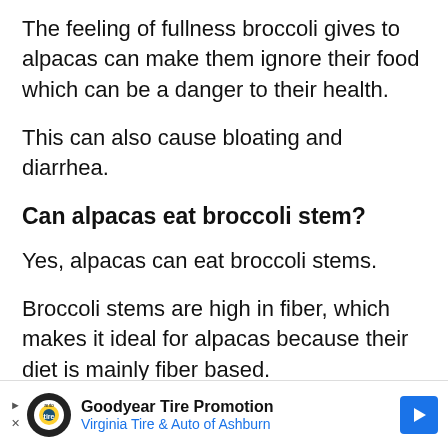The feeling of fullness broccoli gives to alpacas can make them ignore their food which can be a danger to their health.
This can also cause bloating and diarrhea.
Can alpacas eat broccoli stem?
Yes, alpacas can eat broccoli stems.
Broccoli stems are high in fiber, which makes it ideal for alpacas because their diet is mainly fiber based.
Broccoli is also good for alpacas because it is high in magnesium and calcium.
[Figure (other): Goodyear Tire Promotion advertisement banner — Virginia Tire & Auto of Ashburn, with Goodyear logo and blue arrow icon]